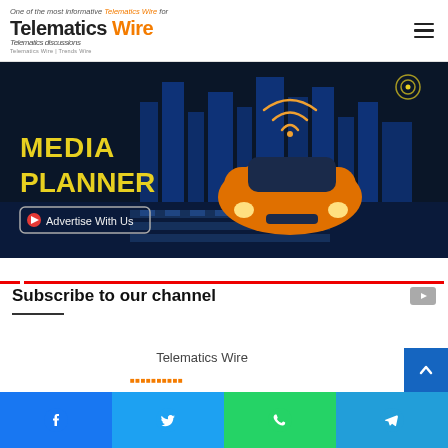One of the most informative Telematics Wire for Telematics discussions
[Figure (illustration): Telematics Wire Media Planner banner with orange car and smart city background, 'MEDIA PLANNER' text in yellow, 'Advertise With Us' button]
Subscribe to our channel
Telematics Wire
Facebook | Twitter | WhatsApp | Telegram social share bar